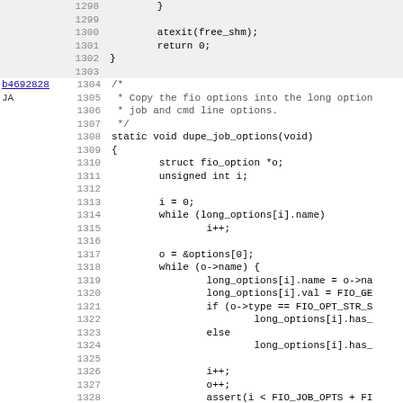Source code viewer showing lines 1298-1330 of a C file. Lines 1298-1303 show closing brace and atexit/return. Lines 1304-1329 show the dupe_job_options function. Annotation: b4692828 JA at line 1304.